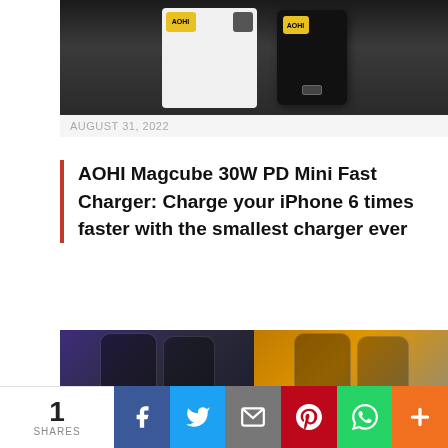[Figure (photo): AOHI Magcube 30W charger device on dark background]
AUGUST 31, 2022
AOHI Magcube 30W PD Mini Fast Charger: Charge your iPhone 6 times faster with the smallest charger ever
[Figure (photo): Asus ROG 6 phones shown in two color variants - dark and gold/orange]
AUGUST 31, 2022
Asus ROG 6 Supreme Edition
1 SHARES